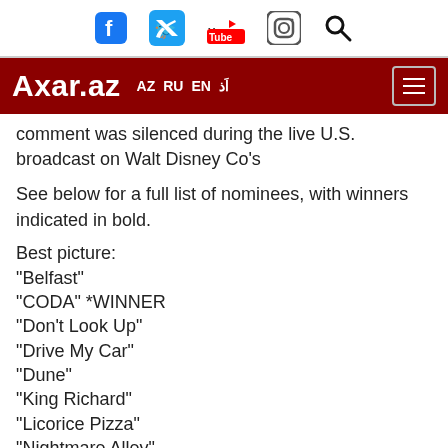[Figure (screenshot): Top navigation bar with social media icons: Facebook, Twitter, YouTube, Instagram, and a search icon]
[Figure (logo): Axar.az website header with logo and language options AZ RU EN and Arabic script, on dark red background, with hamburger menu icon]
comment was silenced during the live U.S. broadcast on Walt Disney Co's
See below for a full list of nominees, with winners indicated in bold.
Best picture:
"Belfast"
"CODA" *WINNER
"Don't Look Up"
"Drive My Car"
"Dune"
"King Richard"
"Licorice Pizza"
"Nightmare Alley"
"The Power of the Dog"
"West Side Story"